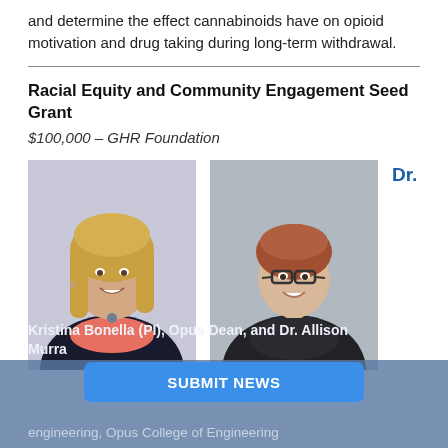and determine the effect cannabinoids have on opioid motivation and drug taking during long-term withdrawal.
Racial Equity and Community Engagement Seed Grant
$100,000 – GHR Foundation
[Figure (photo): Two professional headshot photos side by side: left is a woman with blonde hair in a dark blazer and coral top; right is a young woman with short red hair, glasses, and a dark top. To the right of the photos the label 'Dr.' appears in blue bold text.]
Kristina Bonella (PI), Opus Dean, and Dr. Allison Murray
engineering, Opus College of Engineering